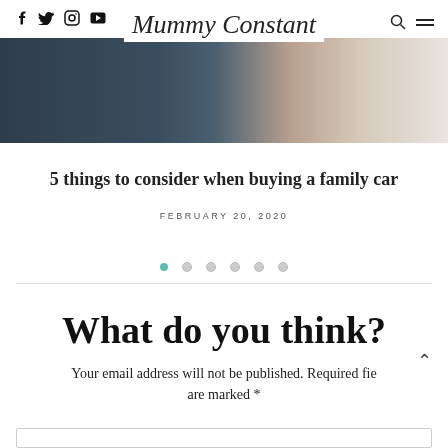Mummy Constant
[Figure (photo): Hero image showing a person seated in a car interior, dark fabric seat on the left, light background on the right]
5 things to consider when buying a family car
FEBRUARY 20, 2020
What do you think?
Your email address will not be published. Required fields are marked *